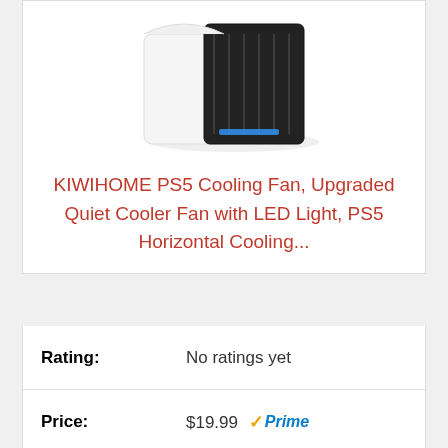[Figure (photo): Cropped product photo of a PS5 cooling fan accessory, white and black device against white background]
KIWIHOME PS5 Cooling Fan, Upgraded Quiet Cooler Fan with LED Light, PS5 Horizontal Cooling...
| Field | Value |
| --- | --- |
| Rating: | No ratings yet |
| Price: | $19.99 Prime |
Buy on Amazon
Bestseller No. 3